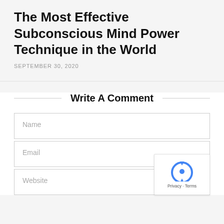The Most Effective Subconscious Mind Power Technique in the World
SEPTEMBER 30, 2020
Write A Comment
Name
Email
Website